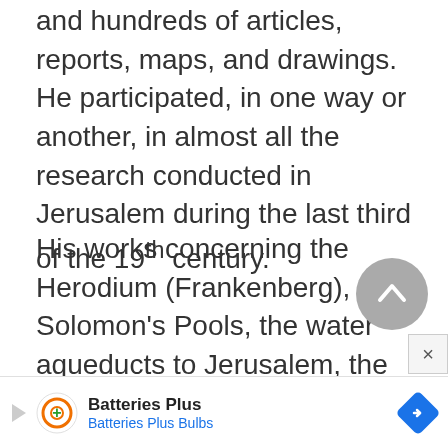and hundreds of articles, reports, maps, and drawings. He participated, in one way or another, in almost all the research conducted in Jerusalem during the last third of the 19th century.
His works concerning the Herodium (Frankenberg), Solomon's Pools, the water aqueducts to Jerusalem, the Siloam inscription, and the subterranean cisterns of the Temple Mount are only some examples of his arc...